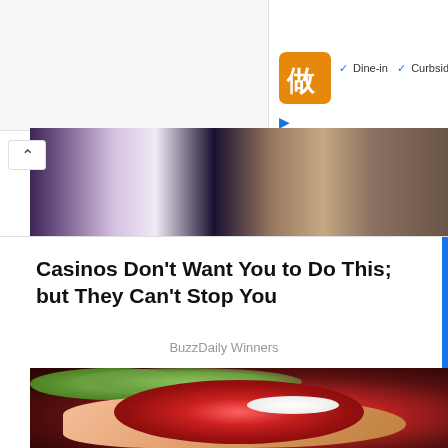[Figure (screenshot): Screenshot of a web browser showing a restaurant ad with logo, Dine-in and Curbside pickup checkmarks, ad play/close controls on the right side, and a partial image of people below.]
Casinos Don't Want You to Do This; but They Can't Stop You
BuzzDaily Winners
[Figure (photo): Close-up photo of a hand holding a rambutan fruit with spiky red exterior and white interior, with green foliage in the background.]